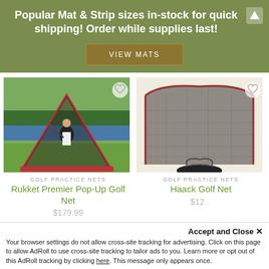Popular Mat & Strip sizes in-stock for quick shipping! Order while supplies last!
VIEW MATS
[Figure (photo): Golfer swinging inside a red pop-up golf practice net on a grass golf course with water in the background]
GOLF PRACTICE NETS
Rukket Premier Pop-Up Golf Net
$179.99
[Figure (photo): Large black mesh golf practice net with red frame poles, shown set up and also folded into a carry bag]
GOLF PRACTICE NETS
Haack Golf Net
$12...
Accept and Close ✕
Your browser settings do not allow cross-site tracking for advertising. Click on this page to allow AdRoll to use cross-site tracking to tailor ads to you. Learn more or opt out of this AdRoll tracking by clicking here. This message only appears once.